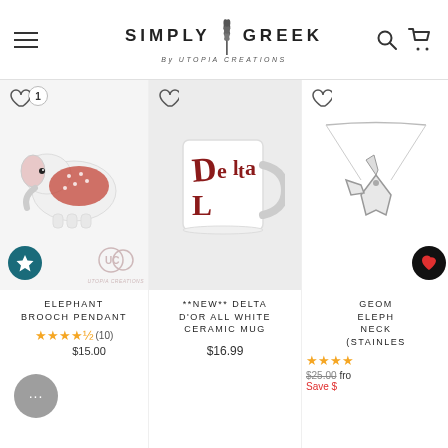Simply Greek by Utopia Creations
[Figure (photo): Elephant brooch pendant product photo with UC watermark logo]
ELEPHANT BROOCH PENDANT
★★★★½ (10)
$15.00
[Figure (photo): New Delta D'Or all white ceramic mug with red lettering]
**NEW** DELTA D'OR ALL WHITE CERAMIC MUG
$16.99
[Figure (photo): Geometric elephant necklace (stainless) - partially visible]
GEOMETRIC ELEPHANT NECKLACE (STAINLESS
★★★★
$25.00 from Save $